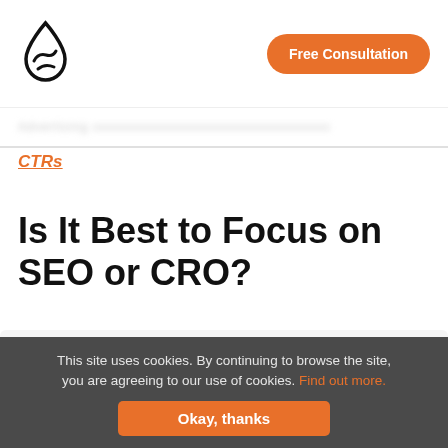[Figure (logo): Single Grain water drop logo in black outline]
Free Consultation
CTRs
Is It Best to Focus on SEO or CRO?
I hope you are getting a lot of value out of this blog post.
Do you want to learn more about this topic? Schedule a Free Consultation call with a Single Grain Expert now!
This site uses cookies. By continuing to browse the site, you are agreeing to our use of cookies. Find out more.
Okay, thanks